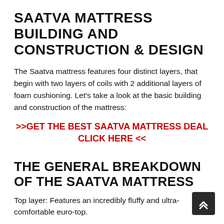SAATVA MATTRESS BUILDING AND CONSTRUCTION & DESIGN
The Saatva mattress features four distinct layers, that begin with two layers of coils with 2 additional layers of foam cushioning. Let's take a look at the basic building and construction of the mattress:
>>GET THE BEST SAATVA MATTRESS DEAL CLICK HERE <<
THE GENERAL BREAKDOWN OF THE SAATVA MATTRESS
Top layer: Features an incredibly fluffy and ultra-comfortable euro-top.